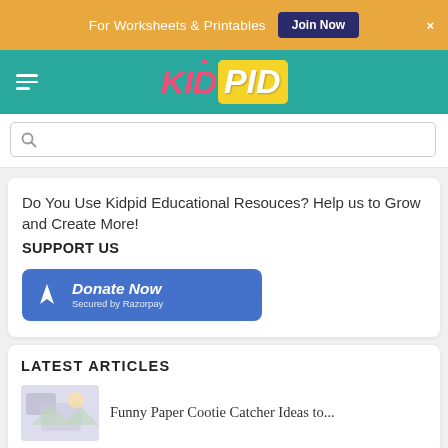For Worksheets & Printables  Join Now  ×
[Figure (logo): KidPid logo with KID in pink italic and PID in white italic on yellow background]
[Figure (screenshot): Search input box with magnifying glass icon]
Do You Use Kidpid Educational Resouces? Help us to Grow and Create More!
SUPPORT US
[Figure (other): Blue Donate Now button secured by Razorpay]
LATEST ARTICLES
Funny Paper Cootie Catcher Ideas to...